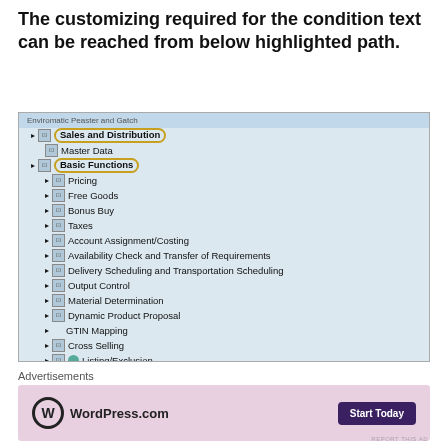The customizing required for the condition text can be reached from below highlighted path.
[Figure (screenshot): SAP menu tree screenshot showing navigation path: Sales and Distribution > Basic Functions > Text Control > Define and Assign Text Determination Procedures. Items 'Sales and Distribution', 'Basic Functions', and 'Text Control' are highlighted with oval outlines. The last row 'Define and Assign Text Determination Procedures' is highlighted in yellow.]
Advertisements
[Figure (other): WordPress.com advertisement banner with pink background, WordPress logo, 'WordPress.com' text, and a dark purple 'Start Today' button. 'REPORT THIS AD' text in bottom right.]